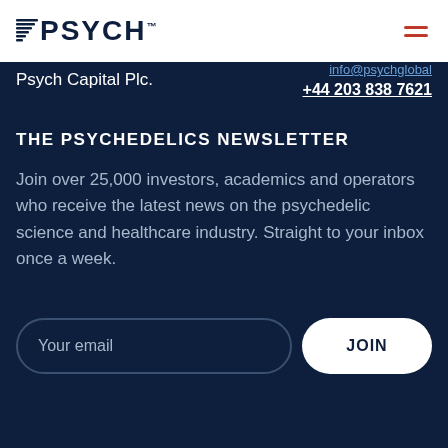PSYCH
Psych Capital Plc.
info@psychglobal +44 203 838 7621
THE PSYCHEDELICS NEWSLETTER
Join over 25,000 investors, academics and operators who receive the latest news on the psychedelic science and healthcare industry. Straight to your inbox once a week.
Your email | JOIN